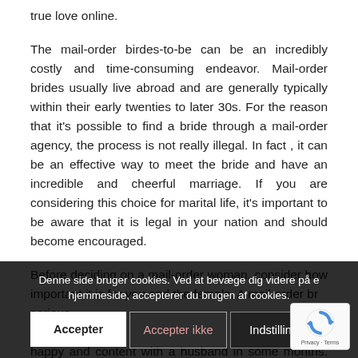true love online.
The mail-order birdes-to-be can be an incredibly costly and time-consuming endeavor. Mail-order brides usually live abroad and are generally typically within their early twenties to later 30s. For the reason that it's possible to find a bride through a mail-order agency, the process is not really illegal. In fact , it can be an effective way to meet the bride and have an incredible and cheerful marriage. If you are considering this choice for marital life, it's important to be aware that it is legal in your nation and should become encouraged.
Before deciding on a mail-order woman, consider how important it is for you and the female. A mail-order br... serious... matt... happy and content with a husband in some months. For
Denne side bruger cookies. Ved at bevæge dig videre på e hjemmeside, accepterer du brugen af cookies.